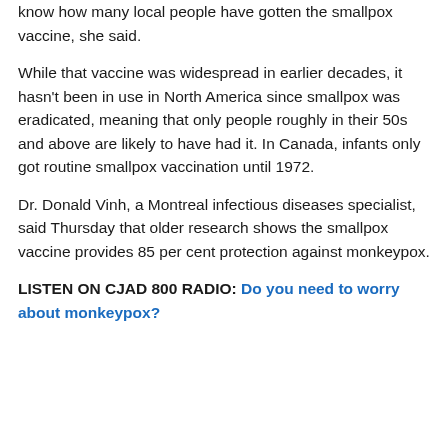know how many local people have gotten the smallpox vaccine, she said.
While that vaccine was widespread in earlier decades, it hasn't been in use in North America since smallpox was eradicated, meaning that only people roughly in their 50s and above are likely to have had it. In Canada, infants only got routine smallpox vaccination until 1972.
Dr. Donald Vinh, a Montreal infectious diseases specialist, said Thursday that older research shows the smallpox vaccine provides 85 per cent protection against monkeypox.
LISTEN ON CJAD 800 RADIO: Do you need to worry about monkeypox?